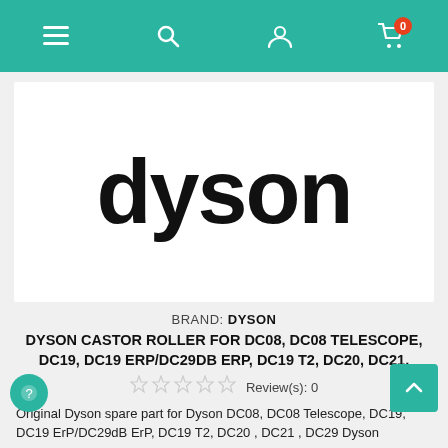Navigation bar with menu, search, account, and cart (0 items) icons
[Figure (logo): Dyson brand logo in large bold black lowercase text on white background]
BRAND: DYSON
DYSON CASTOR ROLLER FOR DC08, DC08 TELESCOPE, DC19, DC19 ERP/DC29DB ERP, DC19 T2, DC20, DC21,
Review(s): 0
Original Dyson spare part for Dyson DC08, DC08 Telescope, DC19, DC19 ErP/DC29dB ErP, DC19 T2, DC20 , DC21 , DC29 Dyson